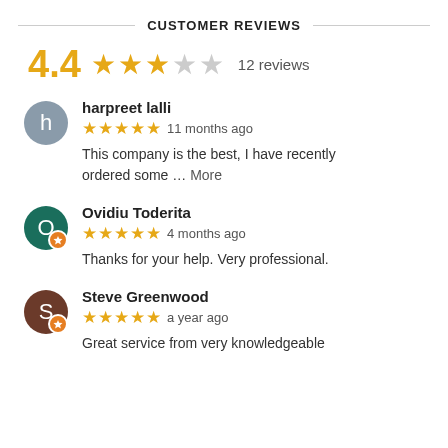CUSTOMER REVIEWS
4.4 ★★★☆☆ 12 reviews
harpreet lalli
★★★★★ 11 months ago
This company is the best, I have recently ordered some … More
Ovidiu Toderita
★★★★★ 4 months ago
Thanks for your help. Very professional.
Steve Greenwood
★★★★★ a year ago
Great service from very knowledgeable